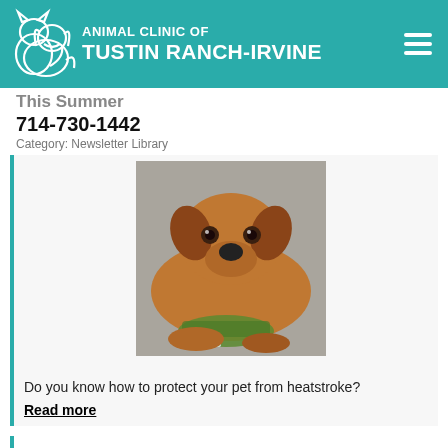ANIMAL CLINIC OF TUSTIN RANCH-IRVINE
This Summer
714-730-1442
Category: Newsletter Library
[Figure (photo): A brown puppy lying on pavement with its chin resting near a green water bowl with ice]
Do you know how to protect your pet from heatstroke?
Read more
Why Heartworm Protection Is Necessary for All Pets
Category: Newsletter Lib...
Accessibility View ×